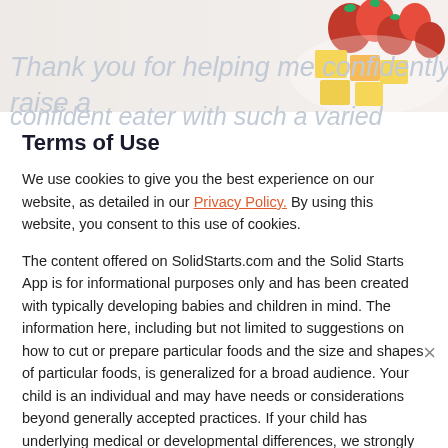[Figure (photo): Top strip showing a bowl of strawberries and yellow crackers/cheese on a white surface, partially visible]
Thank you for helping me confidently raise a confident eater with such a varied palate. I'm so grateful I was told about your advice because it's the most valuable I have ever been able to
Terms of Use
We use cookies to give you the best experience on our website, as detailed in our Privacy Policy. By using this website, you consent to this use of cookies.
The content offered on SolidStarts.com and the Solid Starts App is for informational purposes only and has been created with typically developing babies and children in mind. The information here, including but not limited to suggestions on how to cut or prepare particular foods and the size and shapes of particular foods, is generalized for a broad audience. Your child is an individual and may have needs or considerations beyond generally accepted practices. If your child has underlying medical or developmental differences, we strongly recommend and encourage you to discuss